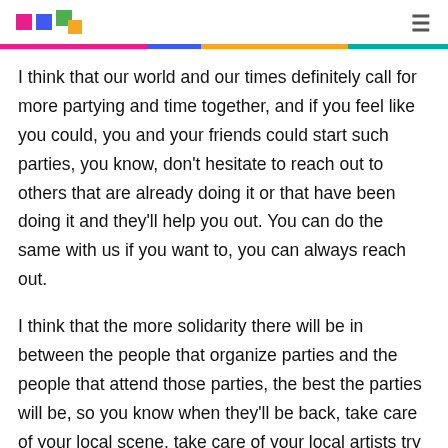[logo squares] [hamburger menu]
I think that our world and our times definitely call for more partying and time together, and if you feel like you could, you and your friends could start such parties, you know, don't hesitate to reach out to others that are already doing it or that have been doing it and they'll help you out. You can do the same with us if you want to, you can always reach out.
I think that the more solidarity there will be in between the people that organize parties and the people that attend those parties, the best the parties will be, so you know when they'll be back, take care of your local scene, take care of your local artists try and support them.